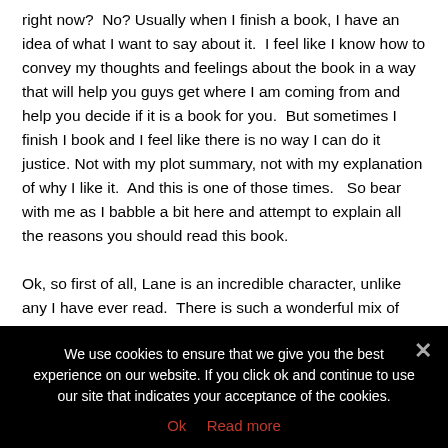right now?  No? Usually when I finish a book, I have an idea of what I want to say about it.  I feel like I know how to convey my thoughts and feelings about the book in a way that will help you guys get where I am coming from and help you decide if it is a book for you.  But sometimes I finish I book and I feel like there is no way I can do it justice. Not with my plot summary, not with my explanation of why I like it.  And this is one of those times.  So bear with me as I babble a bit here and attempt to explain all the reasons you should read this book.

Ok, so first of all, Lane is an incredible character, unlike any I have ever read.  There is such a wonderful mix of that extreme
We use cookies to ensure that we give you the best experience on our website. If you click ok and continue to use our site that indicates your acceptance of the cookies.
Ok   Read more